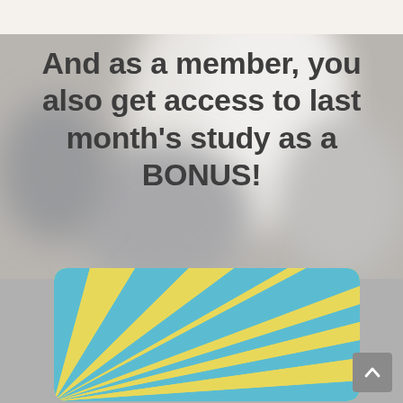[Figure (photo): Blurred gray/beige background photo, likely an out-of-focus person or object]
And as a member, you also get access to last month's study as a BONUS!
[Figure (illustration): Partial view of a card with teal/blue and yellow sunburst ray design, rounded corners]